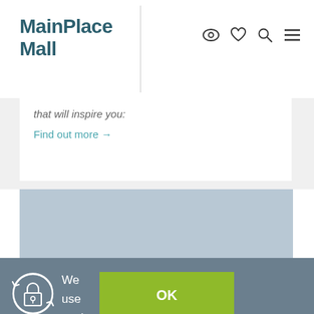MainPlace Mall
that will inspire you:
Find out more →
[Figure (illustration): Blue-gray rectangular image/banner area]
We use cook on this site
OK